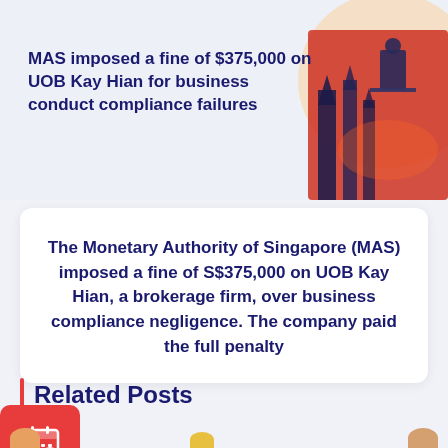[Figure (illustration): Illustrated image of a figure standing on a balcony overlooking a cityscape with tall gothic buildings, rendered in red and orange tones]
MAS imposed a fine of $375,000 on UOB Kay Hian for business conduct compliance failures
The Monetary Authority of Singapore (MAS) imposed a fine of S$375,000 on UOB Kay Hian, a brokerage firm, over business compliance negligence. The company paid the full penalty
Related Posts
[Figure (illustration): Red calendar icon with clock overlay]